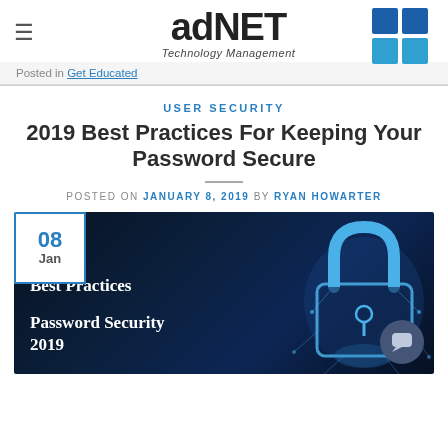adNET Technology Management
Posted in Get Educated
USER SECURITY
2019 Best Practices For Keeping Your Password Secure
POSTED ON JANUARY 8, 2019 BY RYAN HOWARTER
[Figure (illustration): Dark blue background with glowing blue geometric padlock and text overlays reading 'Best Practices' and 'Password Security 2019', with a date badge showing '08 Jan' in the top left corner.]